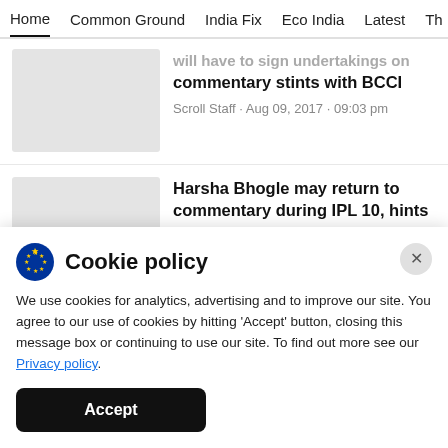Home · Common Ground · India Fix · Eco India · Latest · Th
will have to sign undertakings on commentary stints with BCCI
Scroll Staff · Aug 09, 2017 · 09:03 pm
Harsha Bhogle may return to commentary during IPL 10, hints broadcaster Sony
Cookie policy
We use cookies for analytics, advertising and to improve our site. You agree to our use of cookies by hitting 'Accept' button, closing this message box or continuing to use our site. To find out more see our Privacy policy.
Accept